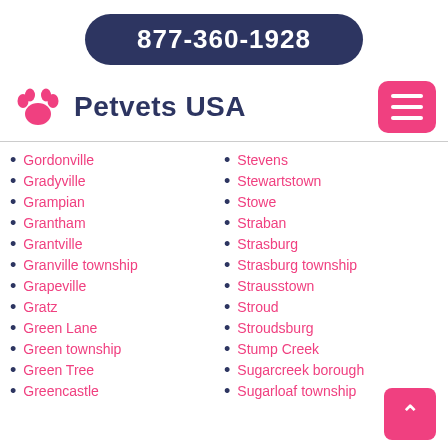877-360-1928
Petvets USA
Gordonville
Gradyville
Grampian
Grantham
Grantville
Granville township
Grapeville
Gratz
Green Lane
Green township
Green Tree
Greencastle
Stevens
Stewartstown
Stowe
Straban
Strasburg
Strasburg township
Strausstown
Stroud
Stroudsburg
Stump Creek
Sugarcreek borough
Sugarloaf township